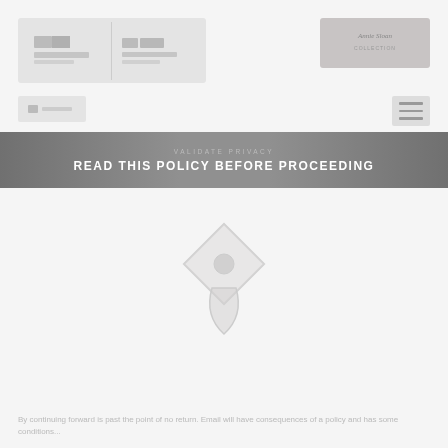[Figure (logo): Two side-by-side logo boxes in the upper left header area]
[Figure (logo): Single logo box in the upper right header area with text 'Annie Sloan']
[Figure (logo): Small sub-logo in the lower left of header]
[Figure (other): Hamburger navigation menu icon on the right side of header]
VALIDATE PRIVACY
READ THIS POLICY BEFORE PROCEEDING
[Figure (other): Central diamond/location pin emblem icon]
By continuing forward is past the point of no return. Email will have consequences of a policy...